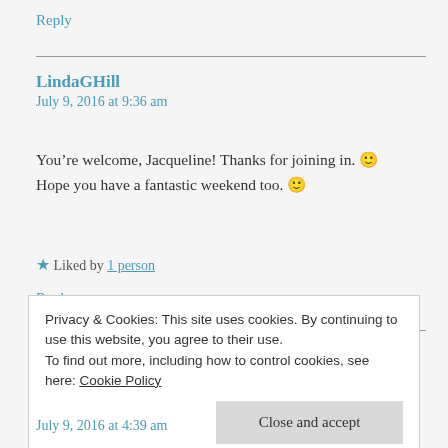Reply
LindaGHill
July 9, 2016 at 9:36 am
You’re welcome, Jacqueline! Thanks for joining in. 🙂 Hope you have a fantastic weekend too. 🙂
★ Liked by 1 person
Reply
Pingback: What are we doing? Stream of consciousness Saturday. | a cooking pot and twistedtales
Privacy & Cookies: This site uses cookies. By continuing to use this website, you agree to their use.
To find out more, including how to control cookies, see here: Cookie Policy
Close and accept
July 9, 2016 at 4:39 am